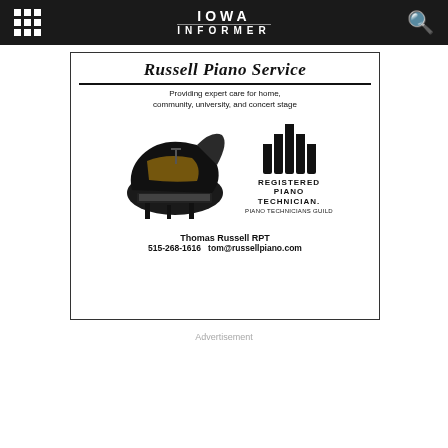Iowa Informer
[Figure (illustration): Russell Piano Service advertisement. Shows a grand piano image on the left and a Registered Piano Technician logo (Piano Technicians Guild) on the right. Text reads: Providing expert care for home, community, university, and concert stage. Thomas Russell RPT. 515-268-1616  tom@russellpiano.com]
Advertisement